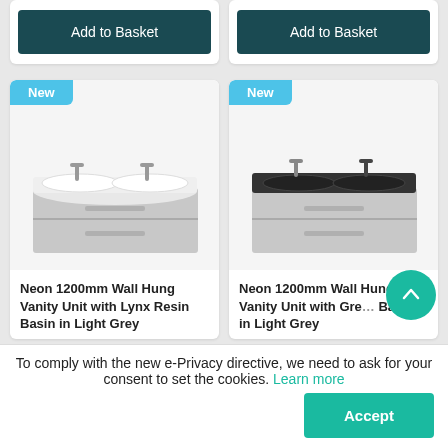Add to Basket
Add to Basket
[Figure (photo): Neon 1200mm Wall Hung Vanity Unit with white double basin and two taps in light grey, with New badge]
Neon 1200mm Wall Hung Vanity Unit with Lynx Resin Basin in Light Grey
[Figure (photo): Neon 1200mm Wall Hung Vanity Unit with dark/grey double basin and two taps in light grey, with New badge]
Neon 1200mm Wall Hung Vanity Unit with Gre... Basin in Light Grey
To comply with the new e-Privacy directive, we need to ask for your consent to set the cookies. Learn more
Accept